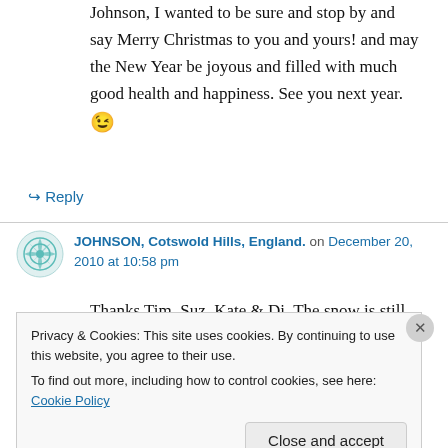Johnson, I wanted to be sure and stop by and say Merry Christmas to you and yours! and may the New Year be joyous and filled with much good health and happiness. See you next year. 😉
↪ Reply
JOHNSON, Cotswold Hills, England. on December 20, 2010 at 10:58 pm
Thanks Tim, Suz, Kate & Di. The snow is still
Privacy & Cookies: This site uses cookies. By continuing to use this website, you agree to their use.
To find out more, including how to control cookies, see here: Cookie Policy
Close and accept